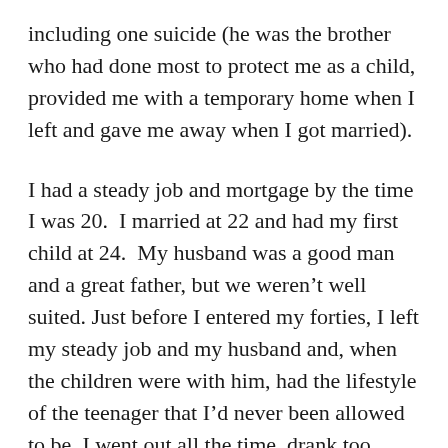including one suicide (he was the brother who had done most to protect me as a child, provided me with a temporary home when I left and gave me away when I got married).
I had a steady job and mortgage by the time I was 20.  I married at 22 and had my first child at 24.  My husband was a good man and a great father, but we weren't well suited. Just before I entered my forties, I left my steady job and my husband and, when the children were with him, had the lifestyle of the teenager that I'd never been allowed to be. I went out all the time, drank too much and fell properly in love for the